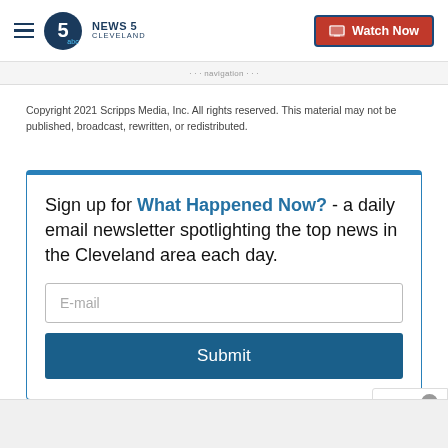NEWS 5 CLEVELAND | Watch Now
Copyright 2021 Scripps Media, Inc. All rights reserved. This material may not be published, broadcast, rewritten, or redistributed.
Sign up for What Happened Now? - a daily email newsletter spotlighting the top news in the Cleveland area each day.